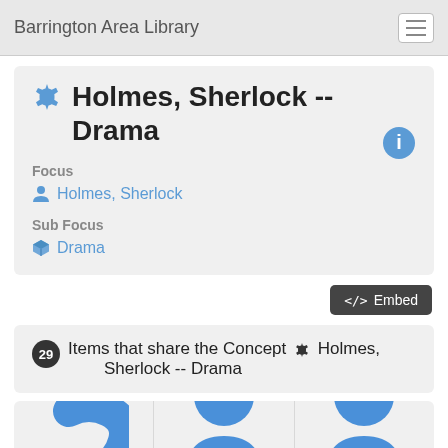Barrington Area Library
Holmes, Sherlock -- Drama
Focus
Holmes, Sherlock
Sub Focus
Drama
</> Embed
29 Items that share the Concept Holmes, Sherlock -- Drama